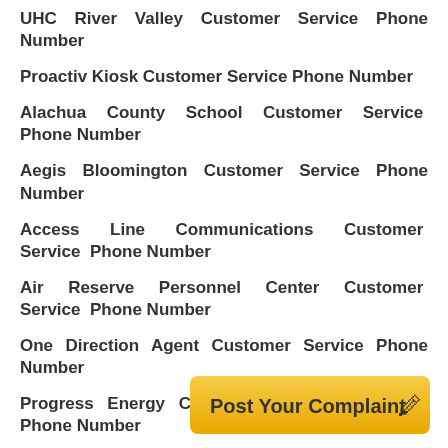UHC River Valley Customer Service Phone Number
Proactiv Kiosk Customer Service Phone Number
Alachua County School Customer Service Phone Number
Aegis Bloomington Customer Service Phone Number
Access Line Communications Customer Service Phone Number
Air Reserve Personnel Center Customer Service Phone Number
One Direction Agent Customer Service Phone Number
Progress Energy Carolinas Customer Service Phone Number
Novotel Abu Dhabi Customer Service Phone Number
Alaska Border Patrol Customer Service Phone Number
Albany Mall Customer Service Phone Number
[Figure (infographic): Post Your Complaint button with pencil/notepad emoji icon, gold/yellow background]